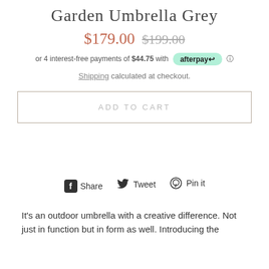Garden Umbrella Grey
$179.00  $199.00
or 4 interest-free payments of $44.75 with afterpay ⓘ
Shipping calculated at checkout.
ADD TO CART
Share  Tweet  Pin it
It's an outdoor umbrella with a creative difference. Not just in function but in form as well. Introducing the